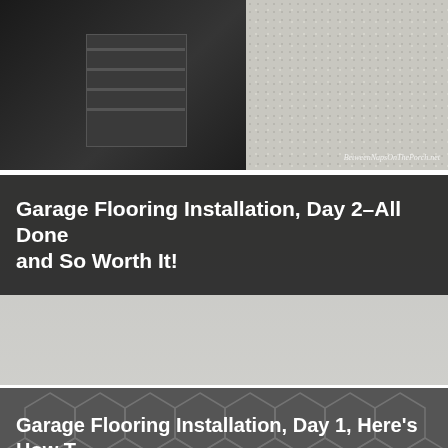[Figure (photo): Top split image: left side shows dark garage interior with tool cabinet/pegboard; right side shows speckled light gray flooring texture with BetweenNapsOnThePorch.net watermark]
[Figure (photo): Blog post card with dark overlay header reading 'Garage Flooring Installation, Day 2–All Done and So Worth It!' and photo below of two workers in bright yellow shirts spreading/rolling epoxy coating on garage floor, blue painter's tape visible at bottom, BetweenNapsOnThePorch.net watermark]
[Figure (photo): Partial blog post card at bottom with dark overlay header beginning 'Garage Flooring Installation, Day 1, Here's How' with hexagonal geometric pattern visible in background]